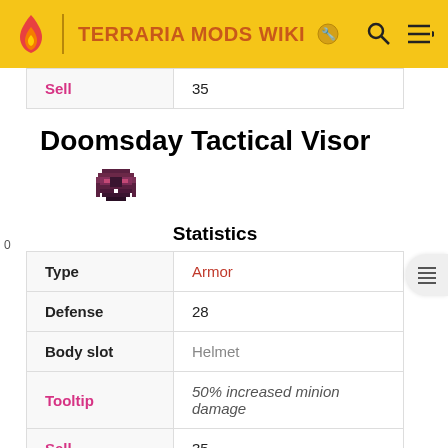TERRARIA MODS WIKI
| Label | Value |
| --- | --- |
| Sell | 35 |
Doomsday Tactical Visor
[Figure (illustration): Pixel art item icon of the Doomsday Tactical Visor (dark/purple colored helmet item)]
Statistics
| Attribute | Value |
| --- | --- |
| Type | Armor |
| Defense | 28 |
| Body slot | Helmet |
| Tooltip | 50% increased minion damage |
| Sell | 35 |